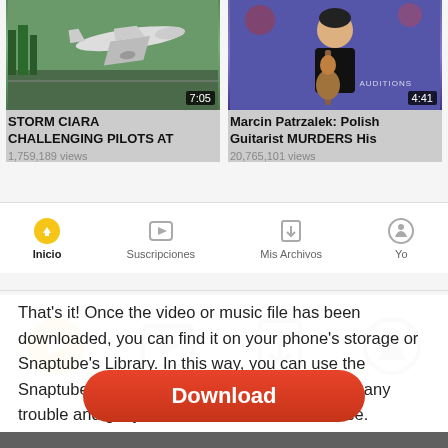[Figure (screenshot): Screenshot of a video app showing two video thumbnails: 'STORM CIARA CHALLENGING PILOTS AT' with 1,759,189 views and 7:05 duration, and 'Marcin Patrzalek: Polish Guitarist MURDERS His' with 20,765,101 views and 4:41 duration. Below the thumbnails is a navigation bar with icons for Inicio, Suscripciones, Mis Archivos, and Yo.]
That’s it! Once the video or music file has been downloaded, you can find it on your phone’s storage or Snaptube’s Library. In this way, you can use the Snaptube video and music downloader without any trouble and get your favorite media files for free.
[Figure (screenshot): Download button - a red rounded rectangle button with white bold text 'Download']